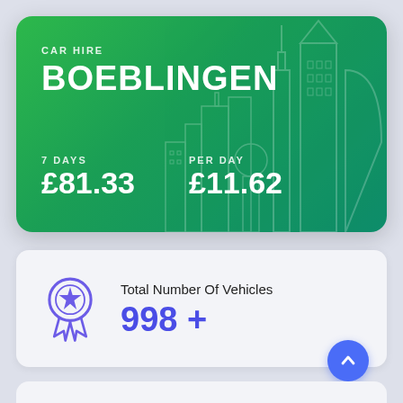[Figure (infographic): Car hire promotional card for Boeblingen with green gradient background and city skyline silhouette. Shows 7 days price £81.33 and per day price £11.62.]
CAR HIRE
BOEBLINGEN
7 DAYS
£81.33
PER DAY
£11.62
[Figure (infographic): Info card showing Total Number Of Vehicles: 998 + with a purple medal/award ribbon icon on the left and a blue circular up-arrow button on the bottom right.]
Total Number Of Vehicles
998 +